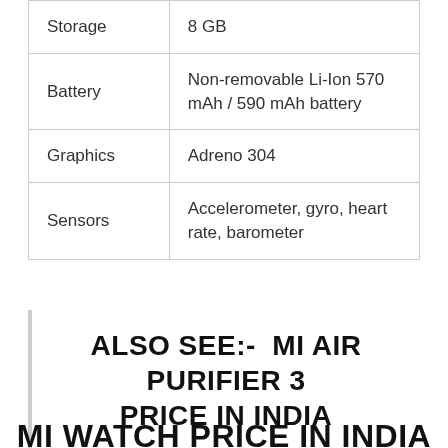| Storage | 8 GB |
| Battery | Non-removable Li-Ion 570 mAh / 590 mAh battery |
| Graphics | Adreno 304 |
| Sensors | Accelerometer, gyro, heart rate, barometer |
ALSO SEE:-  MI AIR PURIFIER 3 PRICE IN INDIA
MI WATCH PRICE IN INDIA